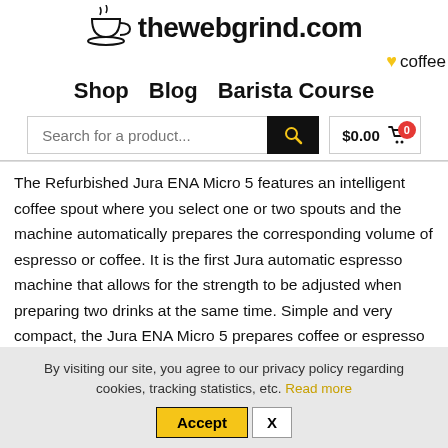thewebgrind.com ♥ coffee
Shop  Blog  Barista Course
Search for a product...  $0.00  0
The Refurbished Jura ENA Micro 5 features an intelligent coffee spout where you select one or two spouts and the machine automatically prepares the corresponding volume of espresso or coffee. It is the first Jura automatic espresso machine that allows for the strength to be adjusted when preparing two drinks at the same time. Simple and very compact, the Jura ENA Micro 5 prepares coffee or espresso with wonderful crema.
By visiting our site, you agree to our privacy policy regarding cookies, tracking statistics, etc. Read more
Accept  X